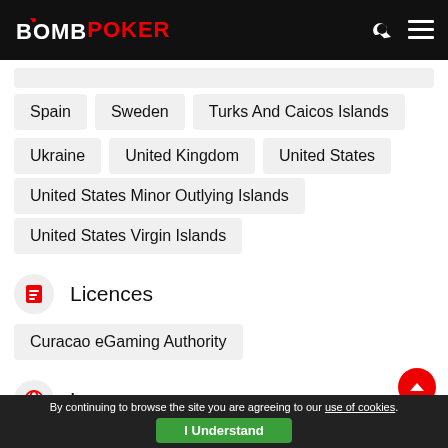BOMB POKER
Spain
Sweden
Turks And Caicos Islands
Ukraine
United Kingdom
United States
United States Minor Outlying Islands
United States Virgin Islands
Licences
Curacao eGaming Authority
Languages
By continuing to browse the site you are agreeing to our use of cookies. I Understand